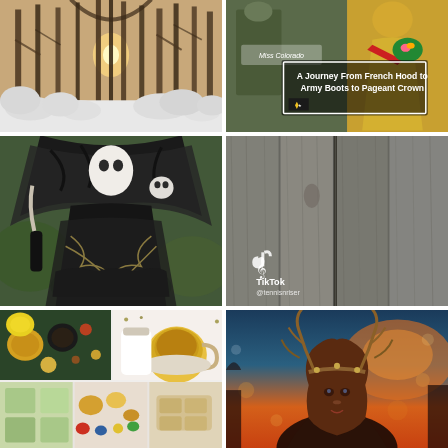[Figure (photo): Snowy winter forest scene with sunlight streaming through bare trees and snow-covered ground and bushes]
[Figure (photo): Composite image showing Miss Colorado pageant winner in yellow gown with text overlay: 'A Journey From French Hood to Army Boots to Pageant Crown' with US Army logo]
[Figure (photo): Person in elaborate dark fantasy costume with white face makeup, black feathered cape, skull decoration, and ornate dark gown with chain details]
[Figure (photo): Close-up of weathered grey wood planks/fence with TikTok logo and username '@tennisnriser' visible in lower left]
[Figure (photo): Collage of food and herb images including spices on dark background, tea cup, and various food items]
[Figure (photo): Woman with antler crown headdress in dramatic autumn sunset lighting with bokeh background]